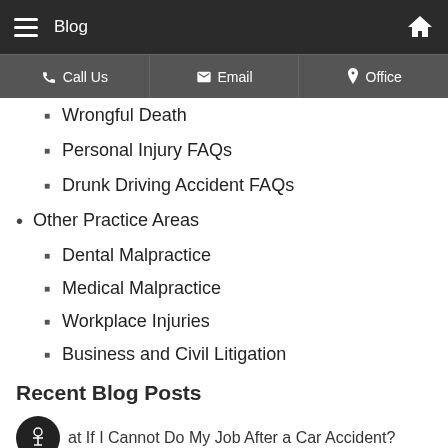Blog
Call Us | Email | Office
Wrongful Death
Personal Injury FAQs
Drunk Driving Accident FAQs
Other Practice Areas
Dental Malpractice
Medical Malpractice
Workplace Injuries
Business and Civil Litigation
Recent Blog Posts
What If I Cannot Do My Job After a Car Accident?
Surgical Errors That May Amount to Malpractice